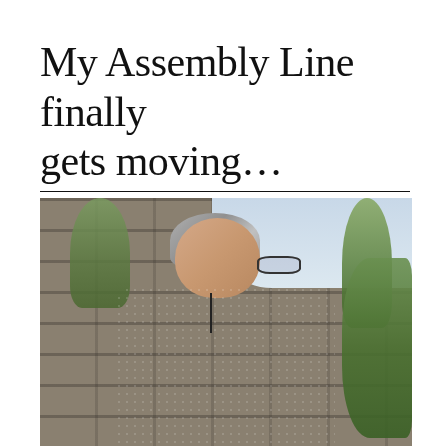My Assembly Line finally gets moving...
[Figure (photo): A woman with short grey hair and glasses, wearing a dark patterned top, standing in front of a stone wall with trees and foliage in the background.]